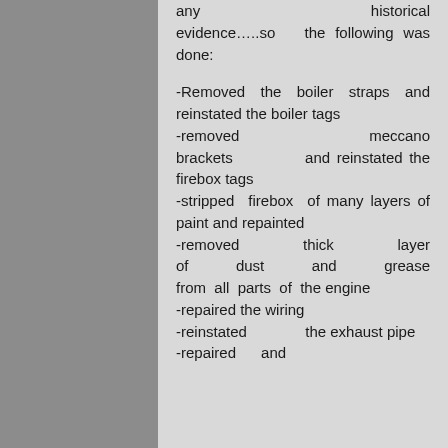any historical evidence…..so the following was done:
-Removed the boiler straps and reinstated the boiler tags
-removed meccano brackets and reinstated the firebox tags
-stripped firebox of many layers of paint and repainted
-removed thick layer of dust and grease from all parts of the engine
-repaired the wiring
-reinstated the exhaust pipe
-repaired and